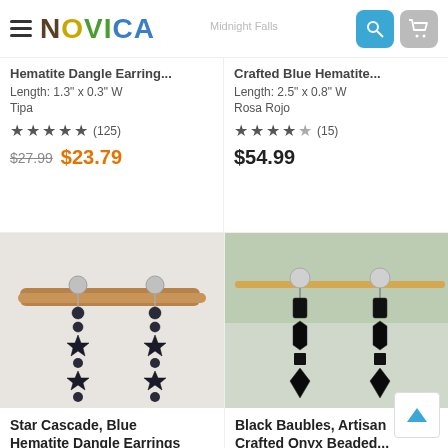NOVICA — Midnight Falls navigation bar with search and cart
Hematite Dangle Earring...
Length: 1.3" x 0.3" W
Tipa
★★★★★ (125)
$27.99  $23.79
Crafted Blue Hematite...
Length: 2.5" x 0.8" W
Rosa Rojo
★★★★☆ (15)
$54.99
[Figure (photo): Star Cascade blue hematite dangle earrings with star-shaped beads hanging from a wooden branch]
[Figure (photo): Black Baubles artisan crafted onyx beaded earrings with geometric faceted beads hanging on display]
Star Cascade, Blue Hematite Dangle Earrings
Black Baubles, Artisan Crafted Onyx Beaded...